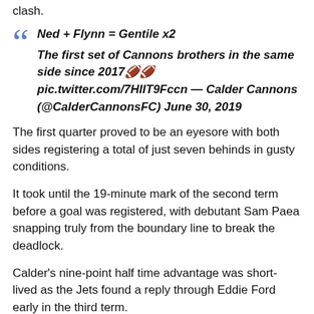clash.
Ned + Flynn = Gentile x2
The first set of Cannons brothers in the same side since 2017 pic.twitter.com/7HIIT9Fccn — Calder Cannons (@CalderCannonsFC) June 30, 2019
The first quarter proved to be an eyesore with both sides registering a total of just seven behinds in gusty conditions.
It took until the 19-minute mark of the second term before a goal was registered, with debutant Sam Paea snapping truly from the boundary line to break the deadlock.
Calder's nine-point half time advantage was short-lived as the Jets found a reply through Eddie Ford early in the third term.